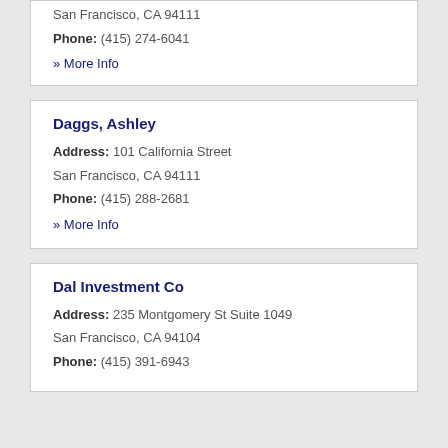San Francisco, CA 94111
Phone: (415) 274-6041
» More Info
Daggs, Ashley
Address: 101 California Street
San Francisco, CA 94111
Phone: (415) 288-2681
» More Info
Dal Investment Co
Address: 235 Montgomery St Suite 1049
San Francisco, CA 94104
Phone: (415) 391-6943